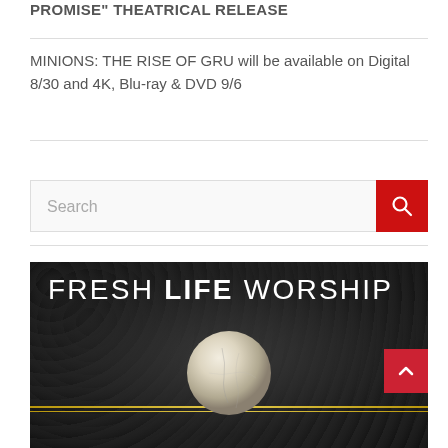PROMISE" THEATRICAL RELEASE
MINIONS: THE RISE OF GRU will be available on Digital 8/30 and 4K, Blu-ray & DVD 9/6
[Figure (screenshot): Search bar with red search button and a 'FRESH LIFE WORSHIP' album cover image below showing white text on dark textured background with a spherical stone object]